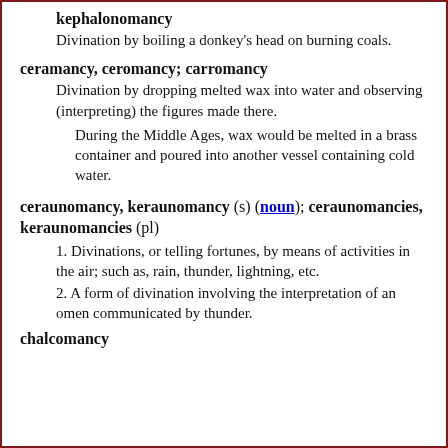kephalonomancy
Divination by boiling a donkey's head on burning coals.
ceramancy, ceromancy; carromancy
Divination by dropping melted wax into water and observing (interpreting) the figures made there.
During the Middle Ages, wax would be melted in a brass container and poured into another vessel containing cold water.
ceraunomancy, keraunomancy (s) (noun); ceraunomancies, keraunomancies (pl)
1. Divinations, or telling fortunes, by means of activities in the air; such as, rain, thunder, lightning, etc.
2. A form of divination involving the interpretation of an omen communicated by thunder.
chalcomancy